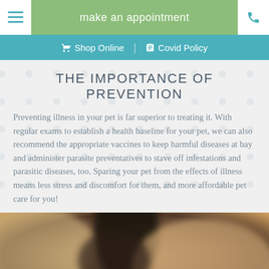make an appointment
Shop Online | Covid Policy
THE IMPORTANCE OF PREVENTION
Preventing illness in your pet is far superior to treating it. With regular exams to establish a health baseline for your pet, we can also recommend the appropriate vaccines to keep harmful diseases at bay and administer parasite preventatives to stave off infestations and parasitic diseases, too. Sparing your pet from the effects of illness means less stress and discomfort for them, and more affordable pet care for you!
[Figure (photo): Close-up blurred photo of a cat and a human face together]